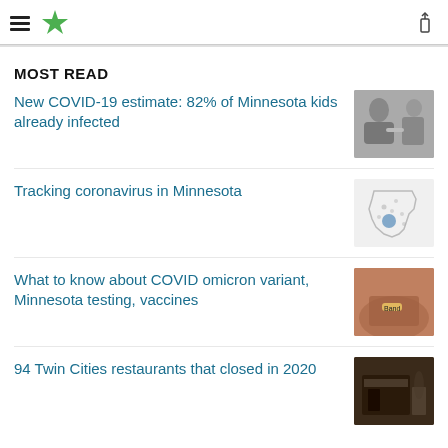StarTribune header with hamburger menu, star logo, and share icon
MOST READ
New COVID-19 estimate: 82% of Minnesota kids already infected
[Figure (photo): Photo of child being vaccinated by a medical professional]
Tracking coronavirus in Minnesota
[Figure (map): Map of Minnesota showing coronavirus tracking data]
What to know about COVID omicron variant, Minnesota testing, vaccines
[Figure (photo): Photo of an arm with a bandage after vaccination]
94 Twin Cities restaurants that closed in 2020
[Figure (photo): Photo of a closed restaurant storefront]